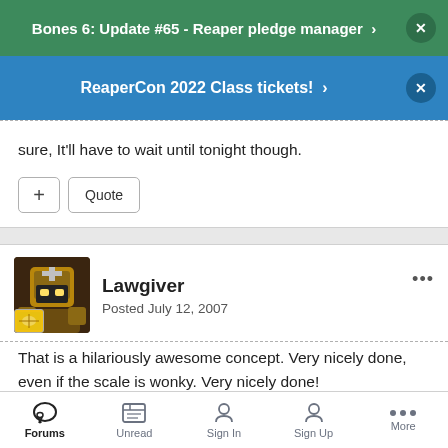Bones 6: Update #65 - Reaper pledge manager
ReaperCon 2022 Class tickets!
sure, It'll have to wait until tonight though.
Lawgiver
Posted July 12, 2007
That is a hilariously awesome concept. Very nicely done, even if the scale is wonky. Very nicely done!
Forums  Unread  Sign In  Sign Up  More